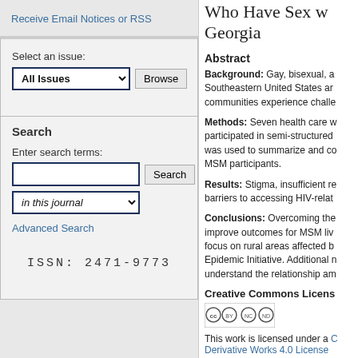Receive Email Notices or RSS
Select an issue:
All Issues
Search
Enter search terms:
in this journal
Advanced Search
ISSN: 2471-9773
Who Have Sex w... Georgia
Abstract
Background: Gay, bisexual, a... Southeastern United States ar... communities experience challe...
Methods: Seven health care w... participated in semi-structured... was used to summarize and co... MSM participants.
Results: Stigma, insufficient re... barriers to accessing HIV-relat...
Conclusions: Overcoming the... improve outcomes for MSM liv... focus on rural areas affected b... Epidemic Initiative. Additional n... understand the relationship am...
Creative Commons Licens...
[Figure (logo): Creative Commons BY NC ND license badge]
This work is licensed under a ... Derivative Works 4.0 License...